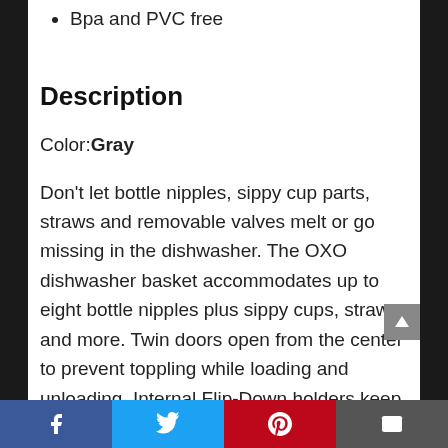Bpa and PVC free
Description
Color: Gray
Don't let bottle nipples, sippy cup parts, straws and removable valves melt or go missing in the dishwasher. The OXO dishwasher basket accommodates up to eight bottle nipples plus sippy cups, straws and more. Twin doors open from the center to prevent toppling while loading and unloading. Internal Flip-Down holders keep